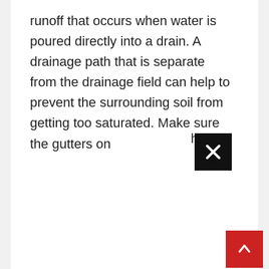runoff that occurs when water is poured directly into a drain. A drainage path that is separate from the drainage field can help to prevent the surrounding soil from getting too saturated. Make sure the gutters on
[Figure (other): Black square close/dismiss button with white X icon]
g
[Figure (other): Red square scroll-to-top button with white upward chevron/caret icon]